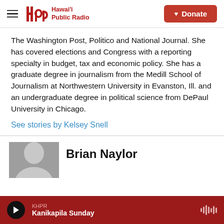Hawai'i Public Radio | Donate
The Washington Post, Politico and National Journal. She has covered elections and Congress with a reporting specialty in budget, tax and economic policy. She has a graduate degree in journalism from the Medill School of Journalism at Northwestern University in Evanston, Ill. and an undergraduate degree in political science from DePaul University in Chicago.
See stories by Kelsey Snell
Brian Naylor
KHPR Kanikapila Sunday